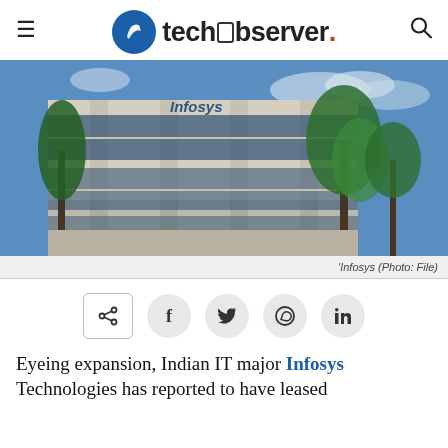techobserver.
[Figure (photo): Exterior of an Infosys office building with glass facade and palm trees in the foreground under a blue sky.]
'Infosys (Photo: File)
< f twitter whatsapp in (share buttons)
Eyeing expansion, Indian IT major Infosys Technologies has reported to have leased